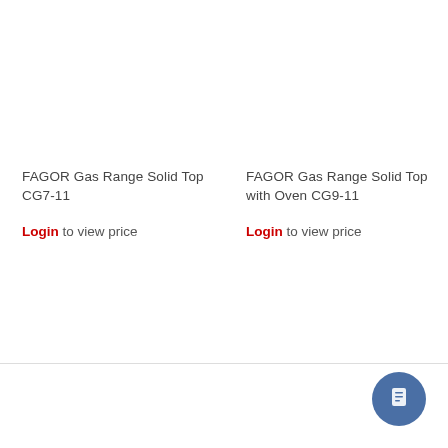FAGOR Gas Range Solid Top CG7-11
Login to view price
FAGOR Gas Range Solid Top with Oven CG9-11
Login to view price